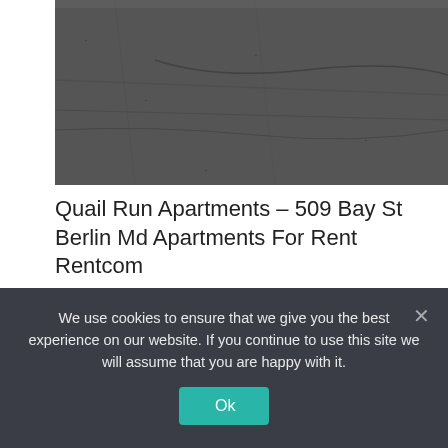[Figure (photo): Aerial or close-up photo of dark asphalt road surface with cracks/lines]
Quail Run Apartments – 509 Bay St Berlin Md Apartments For Rent Rentcom
::?media id=6324256750947989 Precious Paws Animal Hospital – Ocean City Md – Home Facebook
::?media id=2117596651713883 Vca Delmarva Animal Hospital – Home Facebook
We use cookies to ensure that we give you the best experience on our website. If you continue to use this site we will assume that you are happy with it.